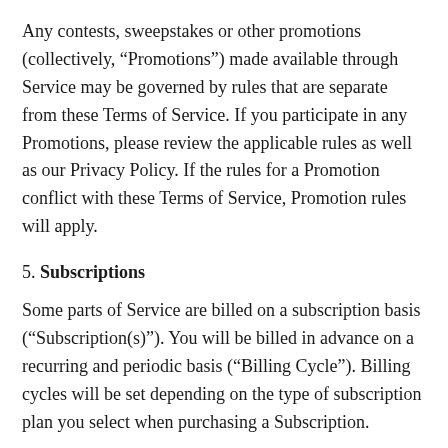Any contests, sweepstakes or other promotions (collectively, “Promotions”) made available through Service may be governed by rules that are separate from these Terms of Service. If you participate in any Promotions, please review the applicable rules as well as our Privacy Policy. If the rules for a Promotion conflict with these Terms of Service, Promotion rules will apply.
5. Subscriptions
Some parts of Service are billed on a subscription basis (“Subscription(s)”). You will be billed in advance on a recurring and periodic basis (“Billing Cycle”). Billing cycles will be set depending on the type of subscription plan you select when purchasing a Subscription.
At the end of each Billing Cycle, your Subscription will